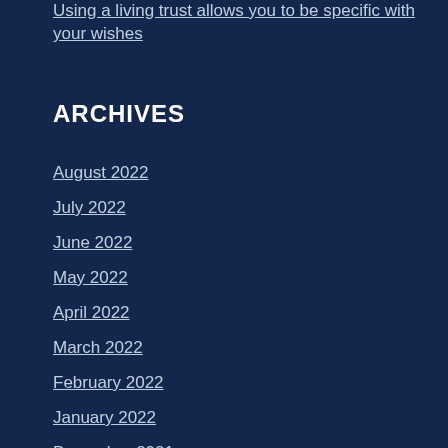Using a living trust allows you to be specific with your wishes
ARCHIVES
August 2022
July 2022
June 2022
May 2022
April 2022
March 2022
February 2022
January 2022
December 2021
November 2021
October 2021